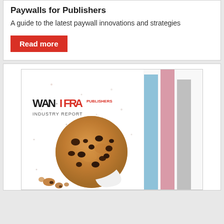Paywalls for Publishers
A guide to the latest paywall innovations and strategies
Read more
[Figure (photo): Book/report cover featuring a chocolate chip cookie and bar chart with WAN-IFRA Publishers branding, with blue, pink and grey bars visible]